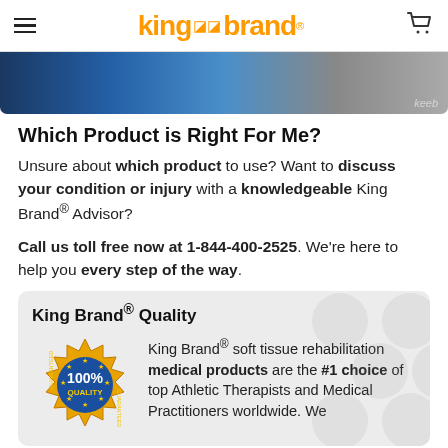King Brand® [logo with navigation]
[Figure (photo): Hero image banner showing colorful products with 'keeb' label in lower right]
Which Product is Right For Me?
Unsure about which product to use? Want to discuss your condition or injury with a knowledgeable King Brand® Advisor?
Call us toll free now at 1-844-400-2525. We're here to help you every step of the way.
King Brand® Quality
[Figure (illustration): 100% Quality Guaranteed gold badge/seal]
King Brand® soft tissue rehabilitation medical products are the #1 choice of top Athletic Therapists and Medical Practitioners worldwide. We